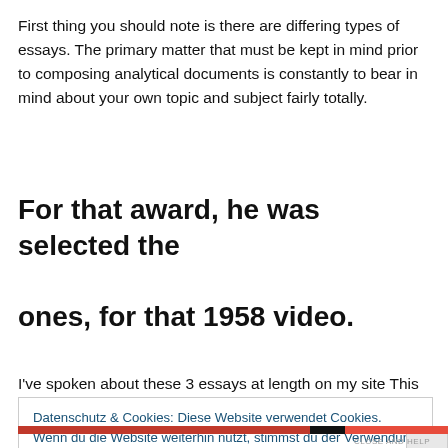First thing you should note is there are differing types of essays. The primary matter that must be kept in mind prior to composing analytical documents is constantly to bear in mind about your own topic and subject fairly totally.
For that award, he was selected the ones, for that 1958 video.
I've spoken about these 3 essays at length on my site This
Datenschutz & Cookies: Diese Website verwendet Cookies. Wenn du die Website weiterhin nutzt, stimmst du der Verwendung von Cookies zu. Weitere Informationen, beispielsweise zur Kontrolle von Cookies, findest du hier: Cookie-Richtlinie